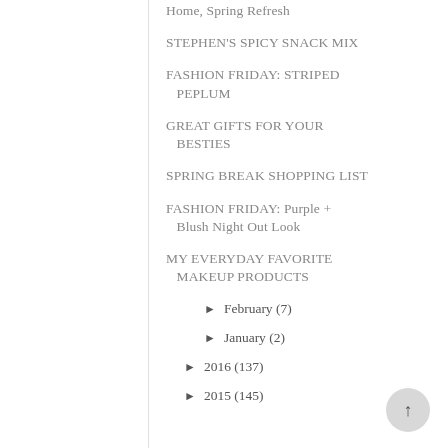Home, Spring Refresh
STEPHEN'S SPICY SNACK MIX
FASHION FRIDAY: STRIPED PEPLUM
GREAT GIFTS FOR YOUR BESTIES
SPRING BREAK SHOPPING LIST
FASHION FRIDAY: Purple + Blush Night Out Look
MY EVERYDAY FAVORITE MAKEUP PRODUCTS
► February (7)
► January (2)
► 2016 (137)
► 2015 (145)